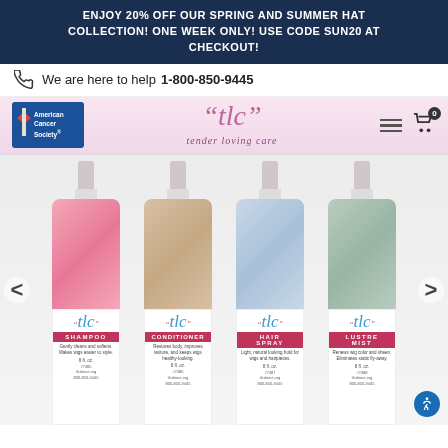ENJOY 20% OFF OUR SPRING AND SUMMER HAT COLLECTION! ONE WEEK ONLY! USE CODE SUN20 AT CHECKOUT!
We are here to help 1-800-850-9445
[Figure (logo): American Cancer Society logo and TLC tender loving care brand logo with navigation icons]
[Figure (photo): Four TLC hair care spray bottles: Shampoo (pink), Conditioner (beige), Hair Spray (light blue), Lustre Mist (mint green), each with TLC script label and product descriptions]